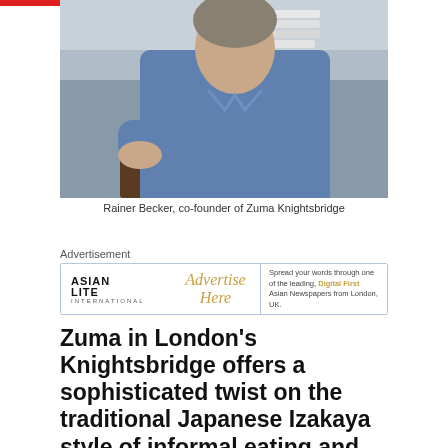[Figure (photo): Man in denim shirt seated at a restaurant table holding a coffee cup, with stacked plates in the background]
Rainer Becker, co-founder of Zuma Knightsbridge
Advertisement
[Figure (other): Asian Lite International advertisement banner with text 'Advertise Here' and 'Spread your words through one of the leading, Digital First Asian Newspapers from London, UK.']
Zuma in London's Knightsbridge offers a sophisticated twist on the traditional Japanese Izakaya style of informal eating and drinking. The ethos behind Zuma